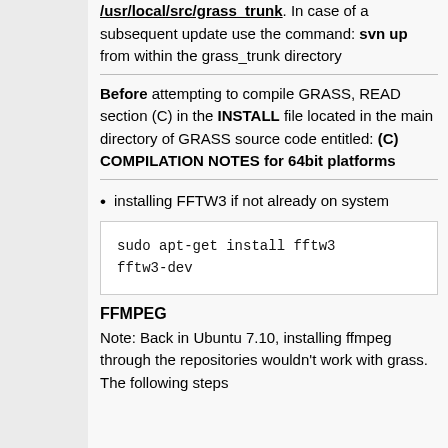/usr/local/src/grass_trunk. In case of a subsequent update use the command: svn up from within the grass_trunk directory
Before attempting to compile GRASS, READ section (C) in the INSTALL file located in the main directory of GRASS source code entitled: (C) COMPILATION NOTES for 64bit platforms
installing FFTW3 if not already on system
sudo apt-get install fftw3 fftw3-dev
FFMPEG
Note: Back in Ubuntu 7.10, installing ffmpeg through the repositories wouldn't work with grass. The following steps